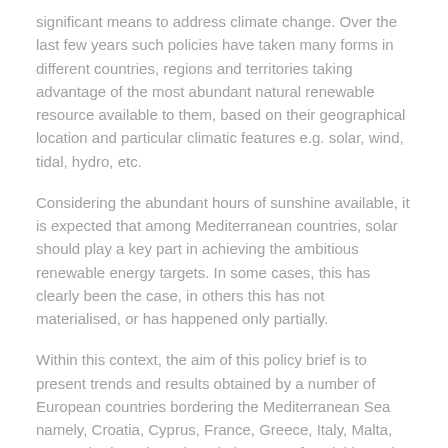significant means to address climate change. Over the last few years such policies have taken many forms in different countries, regions and territories taking advantage of the most abundant natural renewable resource available to them, based on their geographical location and particular climatic features e.g. solar, wind, tidal, hydro, etc.
Considering the abundant hours of sunshine available, it is expected that among Mediterranean countries, solar should play a key part in achieving the ambitious renewable energy targets. In some cases, this has clearly been the case, in others this has not materialised, or has happened only partially.
Within this context, the aim of this policy brief is to present trends and results obtained by a number of European countries bordering the Mediterranean Sea namely, Croatia, Cyprus, France, Greece, Italy, Malta, Portugal, Slovenia and Spain in terms of exploiting solar photovoltaic and solar thermal technologies over the 2010-2016 period, specifically in the residential sector. The brief also looks at what type of incentives are behind the exploitation of photovoltaic (PV) and solar water heating (SWH) technologies in this sector; what incentives were discontinued and the reasons why they were discontinued; and, what are the main barriers and limitations